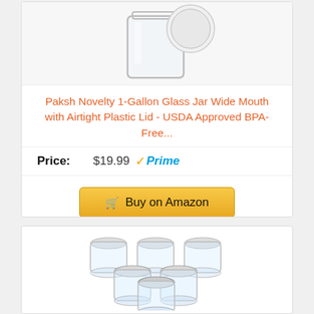[Figure (photo): Glass jar with white airtight lid, partially cropped at top]
Paksh Novelty 1-Gallon Glass Jar Wide Mouth with Airtight Plastic Lid - USDA Approved BPA-Free...
Price: $19.99 Prime
Buy on Amazon
[Figure (photo): Six small clear glass mason jars with silver metal lids arranged in a triangular group]